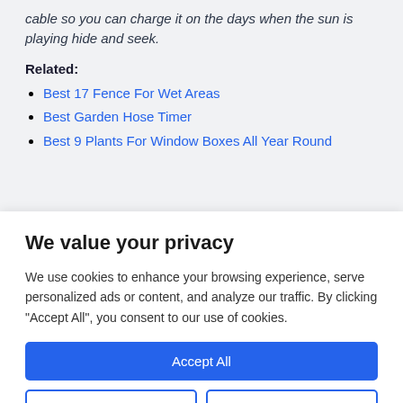cable so you can charge it on the days when the sun is playing hide and seek.
Related:
Best 17 Fence For Wet Areas
Best Garden Hose Timer
Best 9 Plants For Window Boxes All Year Round
We value your privacy
We use cookies to enhance your browsing experience, serve personalized ads or content, and analyze our traffic. By clicking "Accept All", you consent to our use of cookies.
Accept All
Customize
Reject All